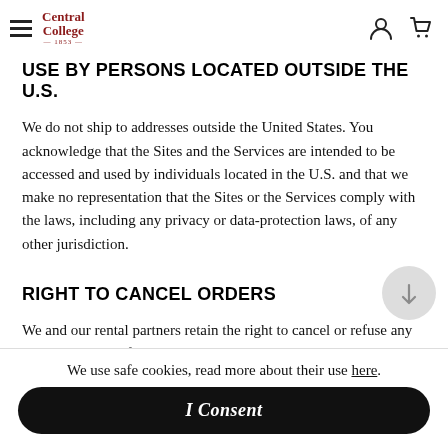Central College (logo) | hamburger menu | person icon | cart icon
USE BY PERSONS LOCATED OUTSIDE THE U.S.
We do not ship to addresses outside the United States. You acknowledge that the Sites and the Services are intended to be accessed and used by individuals located in the U.S. and that we make no representation that the Sites or the Services comply with the laws, including any privacy or data-protection laws, of any other jurisdiction.
RIGHT TO CANCEL ORDERS
We and our rental partners retain the right to cancel or refuse any order that results from an error in pricing due to typographical errors, miscommunication with our partners, or any other incorrect information.
We use safe cookies, read more about their use here.
I Consent